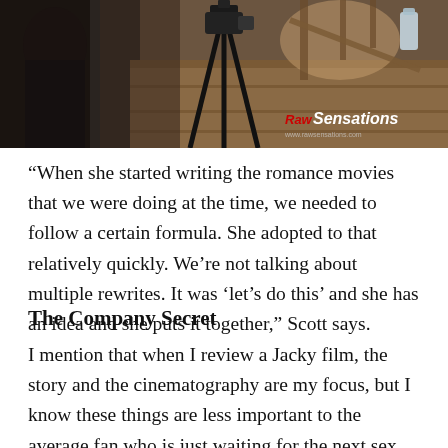[Figure (photo): A behind-the-scenes photo showing a camera tripod set up indoors, with a person in a black top visible on the left, a wooden table/staircase in the background, and a 'Raw Sensations' logo watermark in the bottom-right corner.]
“When she started writing the romance movies that we were doing at the time, we needed to follow a certain formula. She adopted to that relatively quickly. We’re not talking about multiple rewrites. It was ‘let’s do this’ and she has an idea and she puts it together,” Scott says.
The Company Secret
I mention that when I review a Jacky film, the story and the cinematography are my focus, but I know these things are less important to the average fan who is just waiting for the next sex scene.